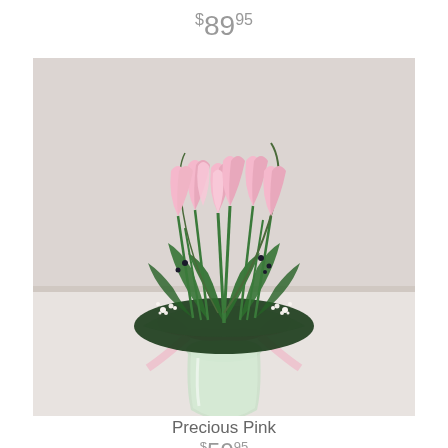$89.95
[Figure (photo): A vase of pink tulips with green leaves and small white baby's breath flowers, wrapped with a pink ribbon bow, set against a light background.]
Precious Pink
$59.95